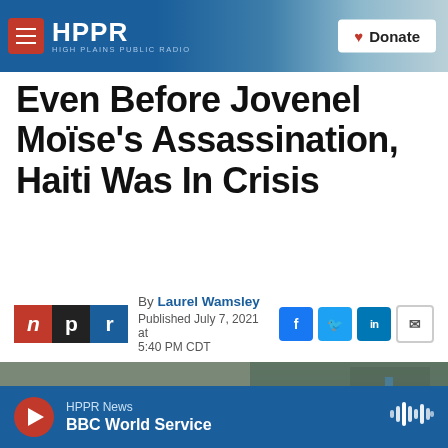HPPR - HIGH PLAINS PUBLIC RADIO | Donate
Even Before Jovenel Moïse's Assassination, Haiti Was In Crisis
By Laurel Wamsley
Published July 7, 2021 at 5:40 PM CDT
[Figure (photo): Outdoor photograph, partially visible, showing a blurred outdoor scene]
HPPR News | BBC World Service